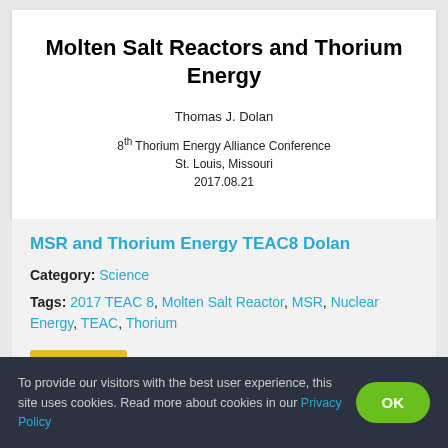Molten Salt Reactors and Thorium Energy
Thomas J. Dolan
8th Thorium Energy Alliance Conference
St. Louis, Missouri
2017.08.21
MSR and Thorium Energy TEAC8 Dolan
Category: Science
Tags: 2017 TEAC 8, Molten Salt Reactor, MSR, Nuclear Energy, TEAC, Thorium
DOCUMENT
To provide our visitors with the best user experience, this site uses cookies. Read more about cookies in our Privacy Policy